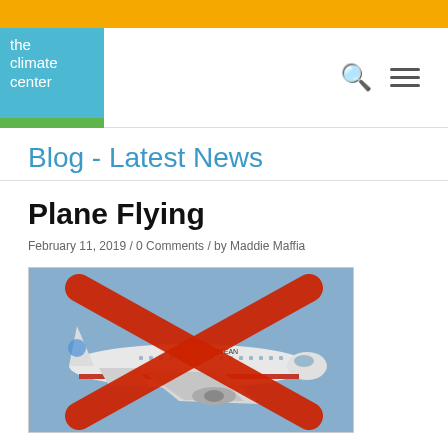the climate center — Blog navigation header
Blog - Latest News
Plane Flying
February 11, 2019 / 0 Comments / by Maddie Maffia
[Figure (photo): A white Aegean Airlines commercial airplane in flight with a large red X overlaid on it, against a blue sky background.]